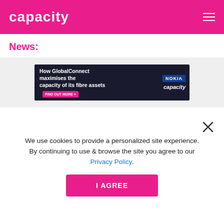capacity
News:
[Figure (screenshot): Advertisement banner: How GlobalConnect maximises the capacity of its fibre assets – FIND OUT MORE. Nokia and Capacity logos on dark background.]
telecoms equipment rumour mill turns its attention to India
We use cookies to provide a personalized site experience. By continuing to use & browse the site you agree to our Privacy Policy.
I AGREE
Alan Burkitt-Gray  April 07, 2020 09:32 AM